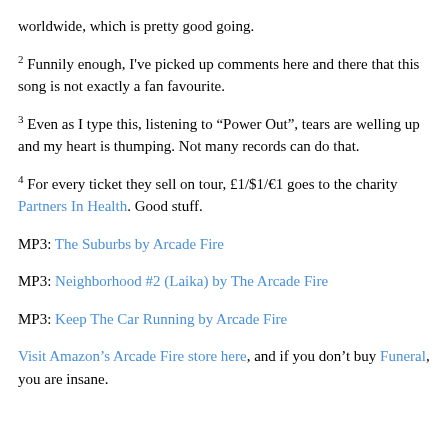worldwide, which is pretty good going.
2 Funnily enough, I've picked up comments here and there that this song is not exactly a fan favourite.
3 Even as I type this, listening to “Power Out”, tears are welling up and my heart is thumping. Not many records can do that.
4 For every ticket they sell on tour, £1/$1/€1 goes to the charity Partners In Health. Good stuff.
MP3: The Suburbs by Arcade Fire
MP3: Neighborhood #2 (Laika) by The Arcade Fire
MP3: Keep The Car Running by Arcade Fire
Visit Amazon’s Arcade Fire store here, and if you don’t buy Funeral, you are insane.